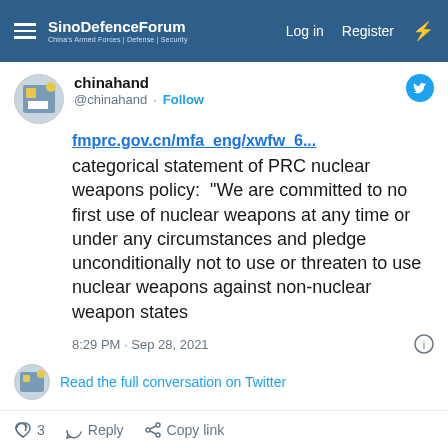SinoDefenceForum — Log in   Register
chinahand
@chinahand · Follow
fmprc.gov.cn/mfa_eng/xwfw_6... categorical statement of PRC nuclear weapons policy: "We are committed to no first use of nuclear weapons at any time or under any circumstances and pledge unconditionally not to use or threaten to use nuclear weapons against non-nuclear weapon states
8:29 PM · Sep 28, 2021
Read the full conversation on Twitter
3   Reply   Copy link
Read 1 reply